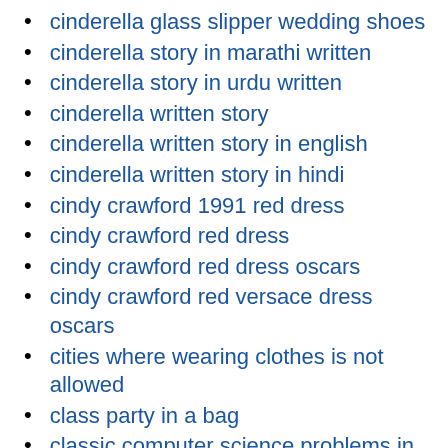cinderella glass slipper wedding shoes
cinderella story in marathi written
cinderella story in urdu written
cinderella written story
cinderella written story in english
cinderella written story in hindi
cindy crawford 1991 red dress
cindy crawford red dress
cindy crawford red dress oscars
cindy crawford red versace dress oscars
cities where wearing clothes is not allowed
class party in a bag
classic computer science problems in python
classic old hollywood wedding dresses
classical music makes you smarter